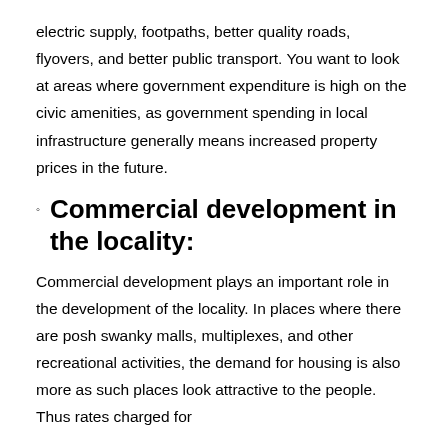electric supply, footpaths, better quality roads, flyovers, and better public transport. You want to look at areas where government expenditure is high on the civic amenities, as government spending in local infrastructure generally means increased property prices in the future.
Commercial development in the locality:
Commercial development plays an important role in the development of the locality. In places where there are posh swanky malls, multiplexes, and other recreational activities, the demand for housing is also more as such places look attractive to the people. Thus rates charged for